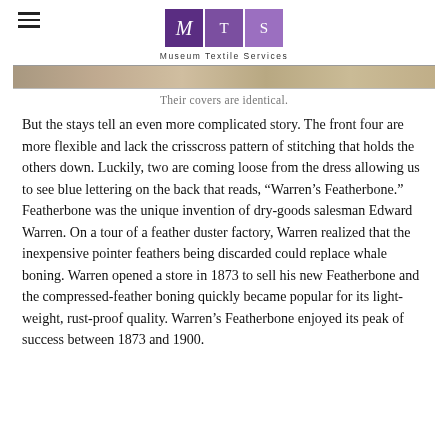Museum Textile Services
[Figure (photo): Cropped image strip showing fabric/textile detail at top of page]
Their covers are identical.
But the stays tell an even more complicated story. The front four are more flexible and lack the crisscross pattern of stitching that holds the others down. Luckily, two are coming loose from the dress allowing us to see blue lettering on the back that reads, “Warren’s Featherbone.” Featherbone was the unique invention of dry-goods salesman Edward Warren. On a tour of a feather duster factory, Warren realized that the inexpensive pointer feathers being discarded could replace whale boning. Warren opened a store in 1873 to sell his new Featherbone and the compressed-feather boning quickly became popular for its light-weight, rust-proof quality. Warren’s Featherbone enjoyed its peak of success between 1873 and 1900.